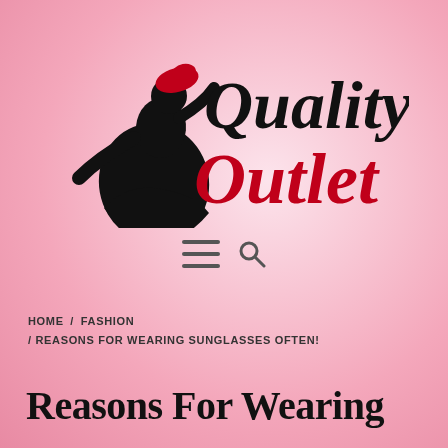[Figure (logo): Quality Outlet logo with a woman in a dress silhouette (black) and a red hat, with 'Quality' in black script and 'Outlet' in red script]
[Figure (other): Navigation icons: hamburger menu (three lines) and search (magnifying glass)]
HOME / FASHION / REASONS FOR WEARING SUNGLASSES OFTEN!
Reasons For Wearing